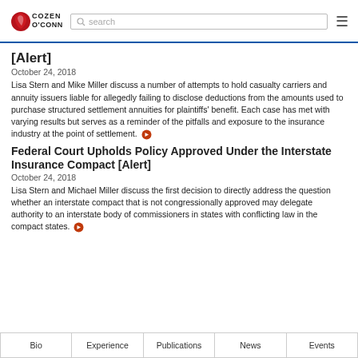Cozen O'Connor [logo, search bar, menu icon]
[Alert]
October 24, 2018
Lisa Stern and Mike Miller discuss a number of attempts to hold casualty carriers and annuity issuers liable for allegedly failing to disclose deductions from the amounts used to purchase structured settlement annuities for plaintiffs' benefit. Each case has met with varying results but serves as a reminder of the pitfalls and exposure to the insurance industry at the point of settlement.
Federal Court Upholds Policy Approved Under the Interstate Insurance Compact [Alert]
October 24, 2018
Lisa Stern and Michael Miller discuss the first decision to directly address the question whether an interstate compact that is not congressionally approved may delegate authority to an interstate body of commissioners in states with conflicting law in the compact states.
Bio | Experience | Publications | News | Events